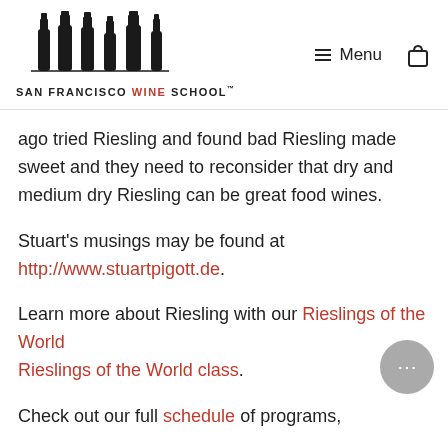San Francisco Wine School — navigation header with logo and menu
ago tried Riesling and found bad Riesling made sweet and they need to reconsider that dry and medium dry Riesling can be great food wines.
Stuart's musings may be found at http://www.stuartpigott.de.
Learn more about Riesling with our Rieslings of the World Rieslings of the World class.
Check out our full schedule of programs,